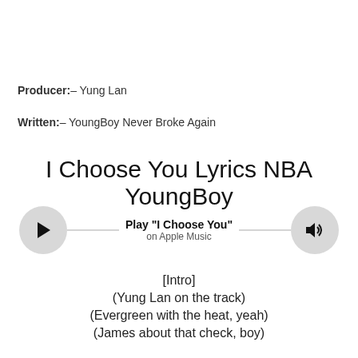Producer:– Yung Lan
Written:– YoungBoy Never Broke Again
I Choose You Lyrics NBA YoungBoy
[Figure (other): Music player widget with play button on left, speaker/volume icon on right, horizontal line connecting them, and center text reading Play "I Choose You" on Apple Music]
[Intro]
(Yung Lan on the track)
(Evergreen with the heat, yeah)
(James about that check, boy)